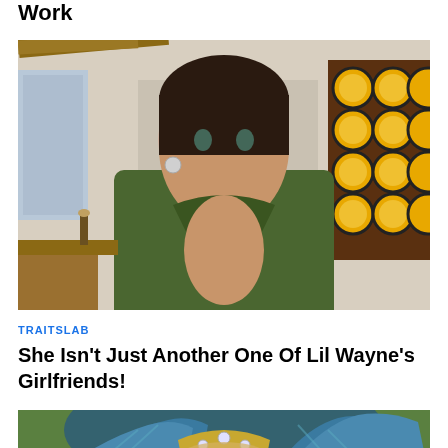Work
[Figure (photo): Woman in green low-cut dress posing indoors with stained glass window in background]
TRAITSLAB
She Isn't Just Another One Of Lil Wayne's Girlfriends!
[Figure (photo): Person in elaborate feathered carnival headdress with jeweled crown, partially visible at bottom of page]